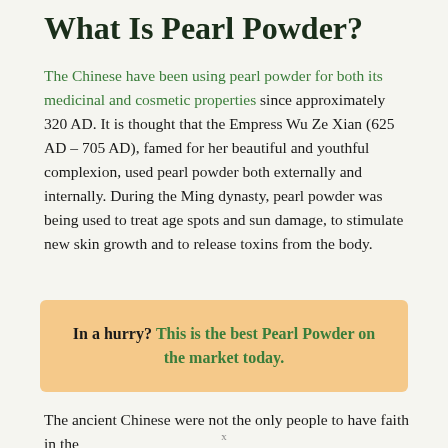What Is Pearl Powder?
The Chinese have been using pearl powder for both its medicinal and cosmetic properties since approximately 320 AD. It is thought that the Empress Wu Ze Xian (625 AD – 705 AD), famed for her beautiful and youthful complexion, used pearl powder both externally and internally. During the Ming dynasty, pearl powder was being used to treat age spots and sun damage, to stimulate new skin growth and to release toxins from the body.
In a hurry? This is the best Pearl Powder on the market today.
The ancient Chinese were not the only people to have faith in the